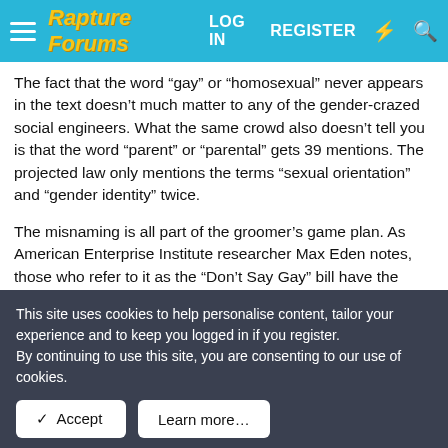Rapture Forums | LOG IN | REGISTER
The fact that the word “gay” or “homosexual” never appears in the text doesn’t much matter to any of the gender-crazed social engineers. What the same crowd also doesn’t tell you is that the word “parent” or “parental” gets 39 mentions. The projected law only mentions the terms “sexual orientation” and “gender identity” twice.
The misnaming is all part of the groomer’s game plan. As American Enterprise Institute researcher Max Eden notes, those who refer to it as the “Don’t Say Gay” bill have the same mentality as those who screeched “Book banning!” when parents in Texas recently tried to remove certain X-rated books
This site uses cookies to help personalise content, tailor your experience and to keep you logged in if you register.
By continuing to use this site, you are consenting to our use of cookies.